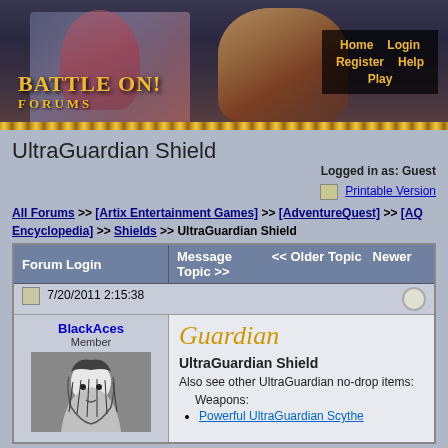[Figure (screenshot): BattleOn! Forums header banner with two game characters (a female vampire/sorceress and a male pirate), gold ornamental borders, and navigation links (Home, Login, Register, Help, Play)]
UltraGuardian Shield
Logged in as: Guest
Printable Version
All Forums >> [Artix Entertainment Games] >> [AdventureQuest] >> [AQ Encyclopedia] >> Shields >> UltraGuardian Shield
| Forum Login | Message | << Older Topic | Newer Topic >> |
| --- | --- | --- | --- |
| 7/20/2011 2:15:38 |  |  |  |
| BlackAces
Member
[avatar image] | Guardian
UltraGuardian Shield
Also see other UltraGuardian no-drop items:
Weapons:
• Powerful UltraGuardian Scythe |  |  |